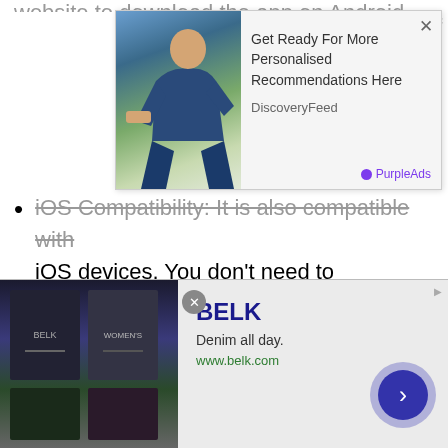iOS Compatibility: It is also compatible with iOS devices. You don't need to download 10Cric APK with iOS devices. Instead, you can directly go to App Store and install the app on iPhone and iPad.
[Figure (screenshot): Top advertisement overlay showing a man with backpack, text 'Get Ready For More Personalised Recommendations Here', source 'DiscoveryFeed', branded with PurpleAds]
Multiple Sports Markets: With this app, you will get multiple sports betting markets. It covers all the international as well as domestic tournaments. You will get outright
[Figure (screenshot): Bottom advertisement for BELK showing 'Denim all day.' and www.belk.com with navigation arrow button and close button]